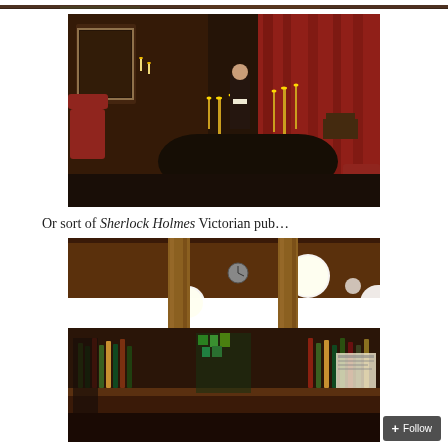[Figure (photo): Partial top strip of a dark interior scene, cropped at the top of the page]
[Figure (photo): Dark gothic-themed room with red curtains, candelabras on a black table, a figure in maid outfit standing in background, dramatic candlelit atmosphere]
Or sort of Sherlock Holmes Victorian pub…
[Figure (photo): Interior of a Victorian-style pub with ornate ceiling, large globe pendant lights, a wooden bar stocked with bottles, and tall columns]